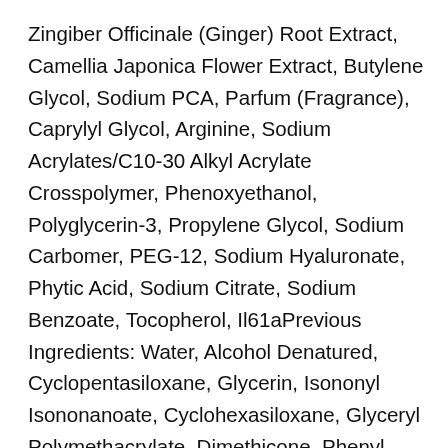Zingiber Officinale (Ginger) Root Extract, Camellia Japonica Flower Extract, Butylene Glycol, Sodium PCA, Parfum (Fragrance), Caprylyl Glycol, Arginine, Sodium Acrylates/C10-30 Alkyl Acrylate Crosspolymer, Phenoxyethanol, Polyglycerin-3, Propylene Glycol, Sodium Carbomer, PEG-12, Sodium Hyaluronate, Phytic Acid, Sodium Citrate, Sodium Benzoate, Tocopherol, Il61aPrevious Ingredients: Water, Alcohol Denatured, Cyclopentasiloxane, Glycerin, Isononyl Isononanoate, Cyclohexasiloxane, Glyceryl Polymethacrylate, Dimethicone, Phenyl Trimethicone, Ethylhexyl Palmitate, Ammonium Acryloyldimethyltaurate/VP Copolymer, Butylene Glycol, Methyl Methacrylate Crosspolymer, HDI/Trimethylol Hexyllactone Crosspolymer,